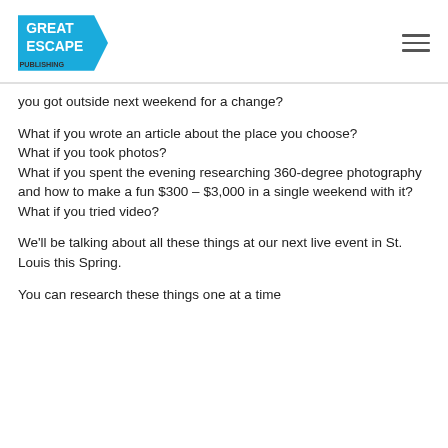Great Escape Publishing
you got outside next weekend for a change?
What if you wrote an article about the place you choose?
What if you took photos?
What if you spent the evening researching 360-degree photography and how to make a fun $300 – $3,000 in a single weekend with it?
What if you tried video?
We'll be talking about all these things at our next live event in St. Louis this Spring.
You can research these things one at a time